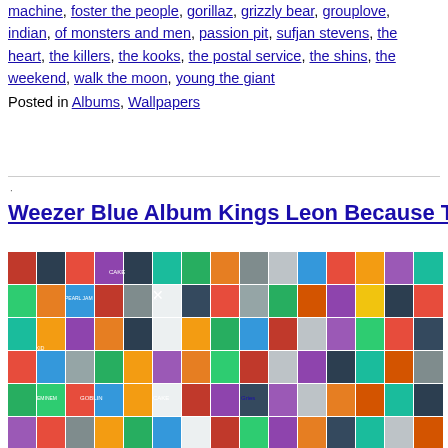machine, foster the people, gorillaz, grizzly bear, grouplove, indian, of monsters and men, passion pit, sufjan stevens, the heart, the killers, the kooks, the postal service, the shins, the weekend, walk the moon, young the giant
Posted in Albums, Wallpapers
Weezer Blue Album Kings Leon Because Times H…
[Figure (photo): A large mosaic grid of album covers forming a collage wallpaper, showing many music album artworks arranged in a grid pattern.]